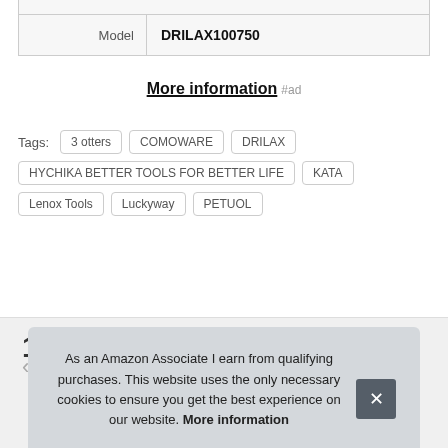|  |  |
| --- | --- |
| Model | DRILAX100750 |
More information #ad
Tags: 3 otters  COMOWARE  DRILAX  HYCHIKA BETTER TOOLS FOR BETTER LIFE  KATA  Lenox Tools  Luckyway  PETUOL
As an Amazon Associate I earn from qualifying purchases. This website uses the only necessary cookies to ensure you get the best experience on our website. More information